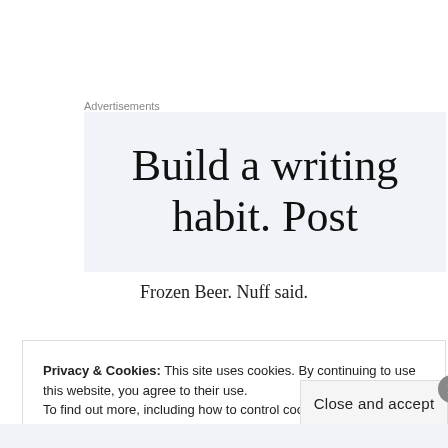Advertisements
[Figure (other): Advertisement banner showing 'Build a writing habit. Post...' text on a light blue-grey background]
Frozen Beer. Nuff said.
Privacy & Cookies: This site uses cookies. By continuing to use this website, you agree to their use.
To find out more, including how to control cookies, see here: Cookie Policy
Close and accept